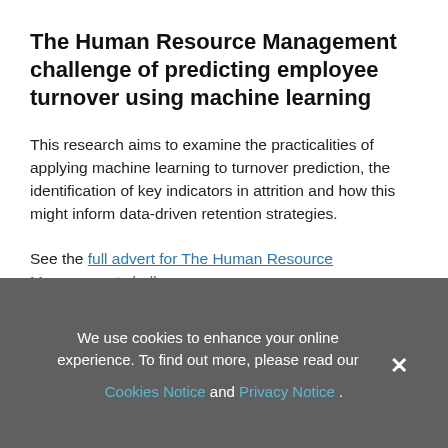The Human Resource Management challenge of predicting employee turnover using machine learning
This research aims to examine the practicalities of applying machine learning to turnover prediction, the identification of key indicators in attrition and how this might inform data-driven retention strategies.
See the full advert for The Human Resource Management challenge....
We use cookies to enhance your online experience. To find out more, please read our Cookies Notice and Privacy Notice.